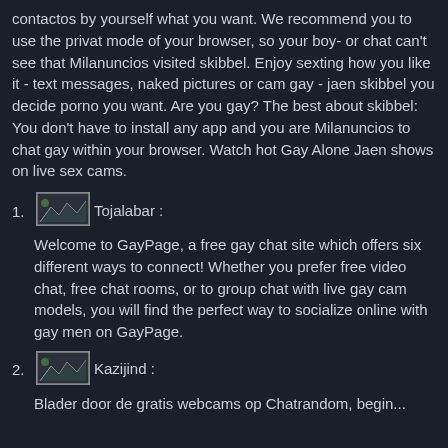contactos by yourself what you want. We recommend you to use the privat mode of your browser, so your boy- or chat can't see that Milanuncios visited skibbel. Enjoy sexting how you like it - text messages, naked pictures or cam gay - jaen skibbel you decide porno you want. Are you gay? The best about skibbel: You don't have to install any app and you are Milanuncios to chat gay within your browser. Watch hot Gay Alone Jaen shows on live sex cams.
1. [image] Tojalabar : Welcome to GayPage, a free gay chat site which offers six different ways to connect! Whether you prefer free video chat, free chat rooms, or to group chat with live gay cam models, you will find the perfect way to socialize online with gay men on GayPage.
2. [image] Kazijind : Blader door de gratis webcams op Chatrandom, begin...